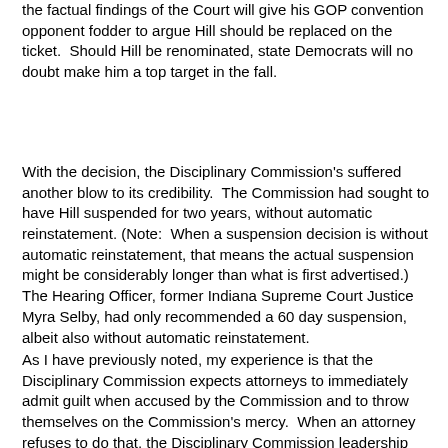the factual findings of the Court will give his GOP convention opponent fodder to argue Hill should be replaced on the ticket.  Should Hill be renominated, state Democrats will no doubt make him a top target in the fall.
With the decision, the Disciplinary Commission's suffered another blow to its credibility.  The Commission had sought to have Hill suspended for two years, without automatic reinstatement. (Note:  When a suspension decision is without automatic reinstatement, that means the actual suspension might be considerably longer than what is first advertised.)  The Hearing Officer, former Indiana Supreme Court Justice Myra Selby, had only recommended a 60 day suspension, albeit also without automatic reinstatement.
As I have previously noted, my experience is that the Disciplinary Commission expects attorneys to immediately admit guilt when accused by the Commission and to throw themselves on the Commission's mercy.  When an attorney refuses to do that, the Disciplinary Commission leadership